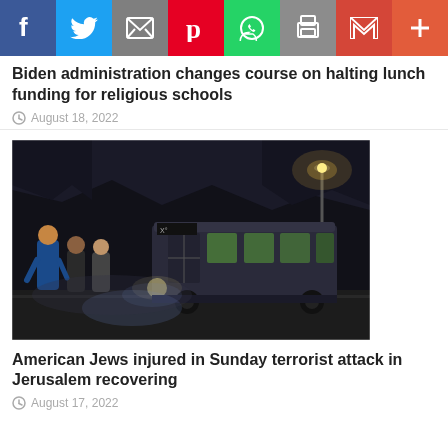Social share bar: Facebook, Twitter, Email, Pinterest, WhatsApp, Print, Gmail, More
Biden administration changes course on halting lunch funding for religious schools
August 18, 2022
[Figure (photo): Night scene of a bus stopped on a dark road with people gathered around it, street lights visible]
American Jews injured in Sunday terrorist attack in Jerusalem recovering
August 17, 2022